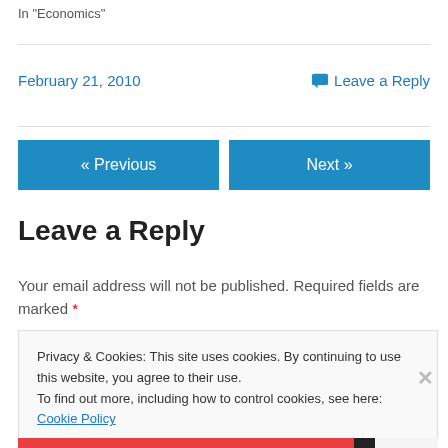In "Economics"
February 21, 2010
Leave a Reply
« Previous
Next »
Leave a Reply
Your email address will not be published. Required fields are marked *
Privacy & Cookies: This site uses cookies. By continuing to use this website, you agree to their use.
To find out more, including how to control cookies, see here: Cookie Policy
Close and accept